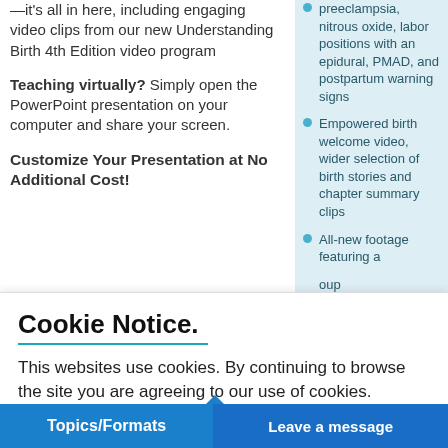—it's all in here, including engaging video clips from our new Understanding Birth 4th Edition video program
Teaching virtually? Simply open the PowerPoint presentation on your computer and share your screen.
Customize Your Presentation at No Additional Cost!
preeclampsia, nitrous oxide, labor positions with an epidural, PMAD, and postpartum warning signs
Empowered birth welcome video, wider selection of birth stories and chapter summary clips
All-new footage featuring a
oup and
new rth s
d
Cookie Notice.
This websites use cookies. By continuing to browse the site you are agreeing to our use of cookies.
✔ Accept   Close
Topics/Formats
Leave a message